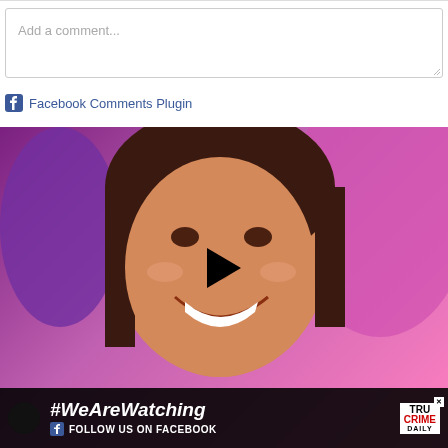Add a comment...
Facebook Comments Plugin
[Figure (screenshot): Video thumbnail of a young girl smiling against a pink/purple background, with a play button overlay. Below is a banner reading '#WeAreWatching' with Facebook follow link and True Crime Daily logo.]